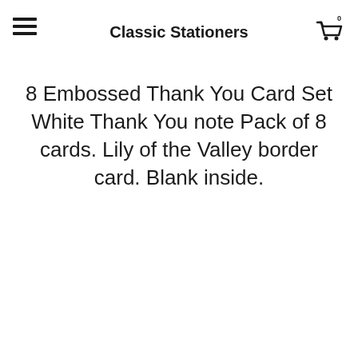Classic Stationers
8 Embossed Thank You Card Set White Thank You note Pack of 8 cards. Lily of the Valley border card. Blank inside.